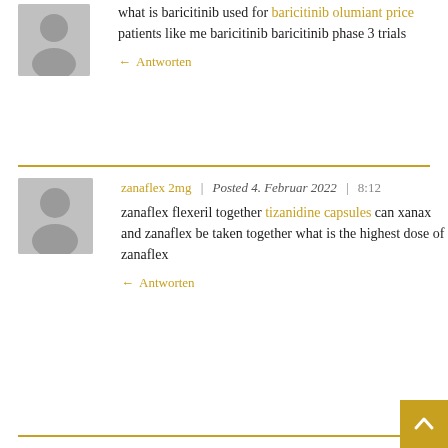[Figure (illustration): Generic user avatar placeholder (grey silhouette) for first comment]
what is baricitinib used for baricitinib olumiant price patients like me baricitinib baricitinib phase 3 trials
← Antworten
[Figure (illustration): Generic user avatar placeholder (grey silhouette) for second comment]
zanaflex 2mg | Posted 4. Februar 2022 | 8:12
zanaflex flexeril together tizanidine capsules can xanax and zanaflex be taken together what is the highest dose of zanaflex
← Antworten